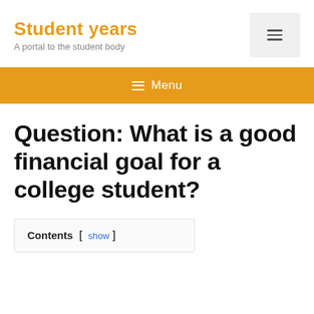Student years
A portal to the student body
≡ Menu
Question: What is a good financial goal for a college student?
Contents [ show ]